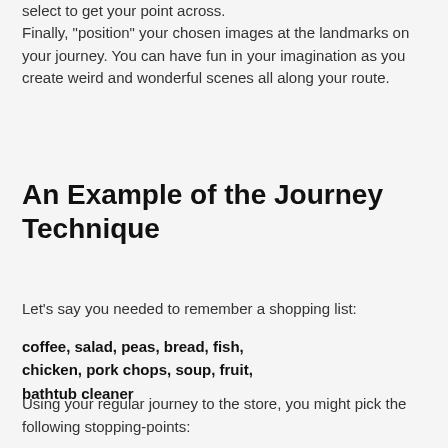select to get your point across.
Finally, "position" your chosen images at the landmarks on your journey. You can have fun in your imagination as you create weird and wonderful scenes all along your route.
An Example of the Journey Technique
Let's say you needed to remember a shopping list:
coffee, salad, peas, bread, fish, chicken, pork chops, soup, fruit, bathtub cleaner
Using your regular journey to the store, you might pick the following stopping-points:
1.  The doormat by your front door